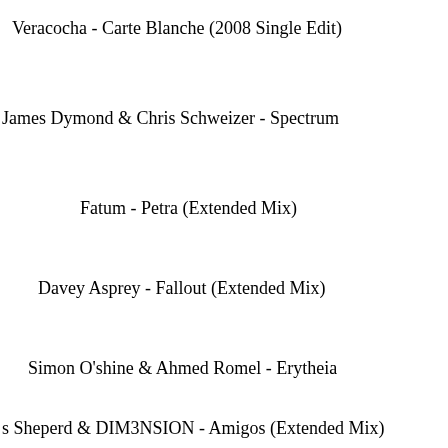Veracocha - Carte Blanche (2008 Single Edit)
James Dymond & Chris Schweizer - Spectrum
Fatum - Petra (Extended Mix)
Davey Asprey - Fallout (Extended Mix)
Simon O'shine & Ahmed Romel - Erytheia
s Sheperd & DIM3NSION - Amigos (Extended Mix)